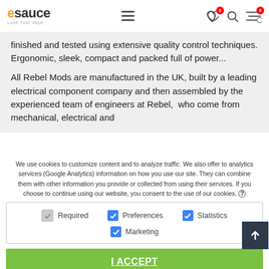esauce - Love Your Vape
finished and tested using extensive quality control techniques. Ergonomic, sleek, compact and packed full of power...
All Rebel Mods are manufactured in the UK, built by a leading electrical component company and then assembled by the experienced team of engineers at Rebel,  who come from mechanical, electrical and
We use cookies to customize content and to analyze traffic. We also offer to analytics services (Google Analytics) information on how you use our site. They can combine them with other information you provide or collected from using their services. If you choose to continue using our website, you consent to the use of our cookies.
Required
Preferences
Statistics
Marketing
I ACCEPT